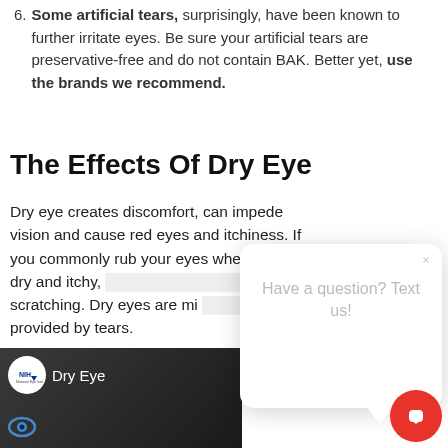6. Some artificial tears, surprisingly, have been known to further irritate eyes. Be sure your artificial tears are preservative-free and do not contain BAK. Better yet, use the brands we recommend.
The Effects Of Dry Eye
Dry eye creates discomfort, can impede vision and cause red eyes and itchiness. If you commonly rub your eyes when they're dry and itchy, scratching. Dry eyes are mi provided by tears.
[Figure (screenshot): A popup chat widget overlaying the page content with the message 'Have a question? Text us!' and a close button X. A red circular chat button is visible in the bottom right corner.]
[Figure (screenshot): A video thumbnail showing a woman's face with NIH logo and 'Dry Eye' text overlay, from the National Eye Institute.]